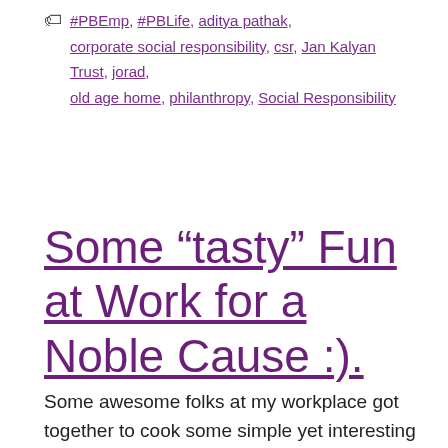Tags: #PBEmp, #PBLife, aditya pathak, corporate social responsibility, csr, Jan Kalyan Trust, jorad, old age home, philanthropy, Social Responsibility
Some “tasty” Fun at Work for a Noble Cause :).
Some awesome folks at my workplace got together to cook some simple yet interesting dishes..put up food stalls..and the fund collections went for charity. 🙂 We even invited a...